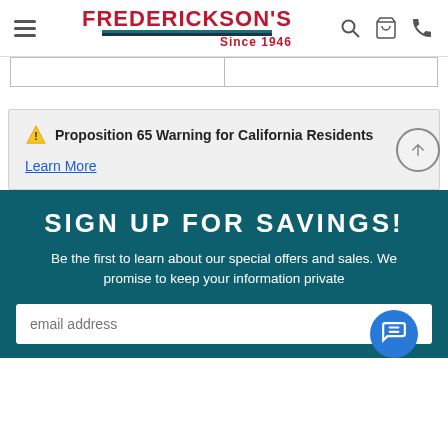[Figure (logo): Frederickson's Since 1946 logo with hamburger menu, search, cart, and phone icons in the header]
|  |  |
⚠ Proposition 65 Warning for California Residents
Learn More
SIGN UP FOR SAVINGS!
Be the first to learn about our special offers and sales. We promise to keep your information private
email address